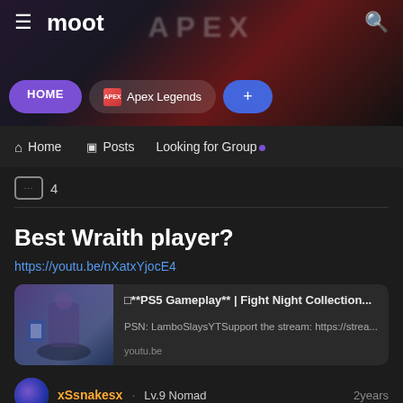moot
[Figure (screenshot): Apex Legends banner image with game artwork in background, blurred dark tones]
HOME
Apex Legends
+
Home  Posts  Looking for Group
4
Best Wraith player?
https://youtu.be/nXatxYjocE4
[Figure (screenshot): YouTube video embed card showing PS5 Gameplay Fight Night Collection. Title: □**PS5 Gameplay** | Fight Night Collection... Description: PSN: LamboSlaysYTSupport the stream: https://strea... Domain: youtu.be]
xSsnakesx · Lv.9 Nomad — 2years
0